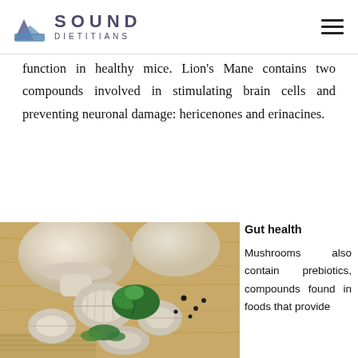Sound Dietitians
function in healthy mice. Lion's Mane contains two compounds involved in stimulating brain cells and preventing neuronal damage: hericenones and erinacines.
[Figure (photo): Sliced mushrooms with parsley on a wooden cutting board]
Gut health
Mushrooms also contain prebiotics, compounds found in foods that provide